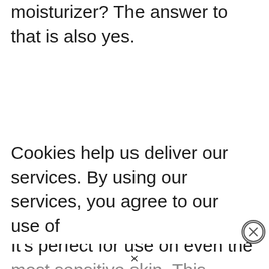moisturizer? The answer to that is also yes.
The bottom line is that jojoba oil is gentle and moisturizing. It's perfect for use on even the most sensitive skin. This means you can use
Cookies help us deliver our services. By using our services, you agree to our use of
×